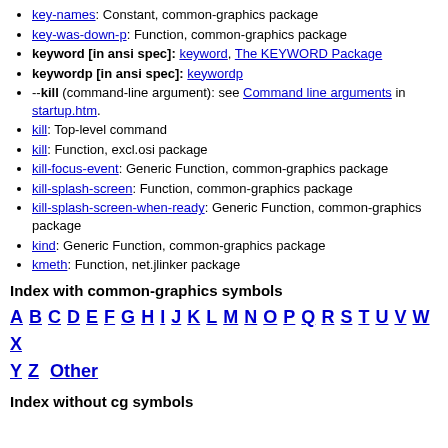key-names: Constant, common-graphics package
key-was-down-p: Function, common-graphics package
keyword [in ansi spec]: keyword, The KEYWORD Package
keywordp [in ansi spec]: keywordp
--kill (command-line argument): see Command line arguments in startup.htm.
kill: Top-level command
kill: Function, excl.osi package
kill-focus-event: Generic Function, common-graphics package
kill-splash-screen: Function, common-graphics package
kill-splash-screen-when-ready: Generic Function, common-graphics package
kind: Generic Function, common-graphics package
kmeth: Function, net.jlinker package
Index with common-graphics symbols
A B C D E F G H I J K L M N O P Q R S T U V W X Y Z Other
Index without cg symbols